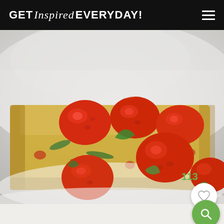GET Inspired EVERYDAY!
[Figure (photo): A slice of egg frittata topped with halved cherry tomatoes and fresh basil leaves, served on a white plate, close-up food photography]
113
[Figure (illustration): White circular heart/favorite button icon]
[Figure (illustration): Green circular search/magnifier button icon]